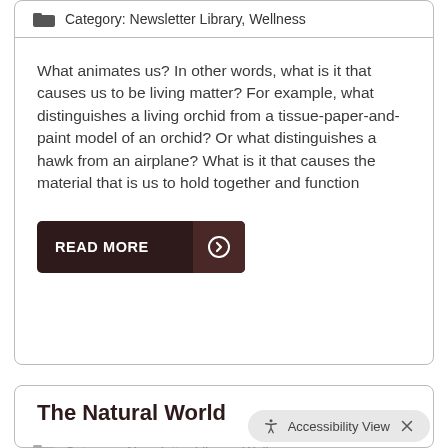Category: Newsletter Library, Wellness
What animates us? In other words, what is it that causes us to be living matter? For example, what distinguishes a living orchid from a tissue-paper-and-paint model of an orchid? Or what distinguishes a hawk from an airplane? What is it that causes the material that is us to hold together and function
READ MORE
The Natural World
Category: Newsletter Library, Wellness
Accessibility View